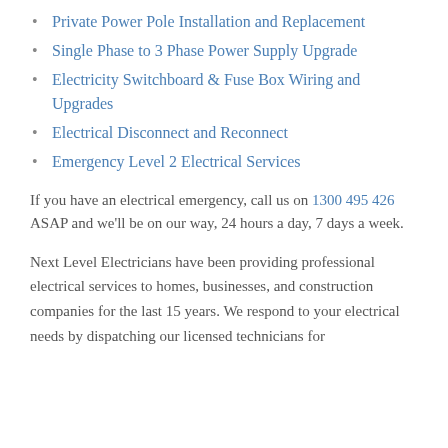Private Power Pole Installation and Replacement
Single Phase to 3 Phase Power Supply Upgrade
Electricity Switchboard & Fuse Box Wiring and Upgrades
Electrical Disconnect and Reconnect
Emergency Level 2 Electrical Services
If you have an electrical emergency, call us on 1300 495 426 ASAP and we'll be on our way, 24 hours a day, 7 days a week.
Next Level Electricians have been providing professional electrical services to homes, businesses, and construction companies for the last 15 years. We respond to your electrical needs by dispatching our licensed technicians for